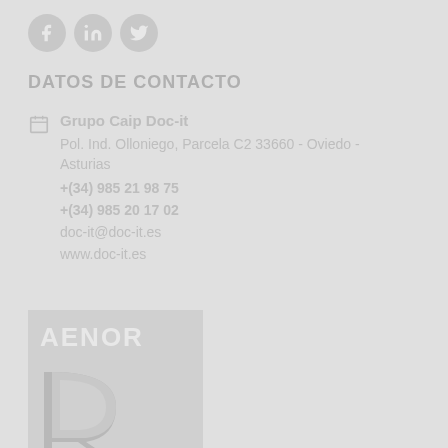[Figure (logo): Social media icons: Facebook, LinkedIn, Twitter circular icons in light gray]
DATOS DE CONTACTO
Grupo Caip Doc-it
Pol. Ind. Olloniego, Parcela C2 33660 - Oviedo - Asturias
+(34) 985 21 98 75
+(34) 985 20 17 02
doc-it@doc-it.es
www.doc-it.es
[Figure (logo): AENOR certification logo with large stylized R letter in light gray tones]